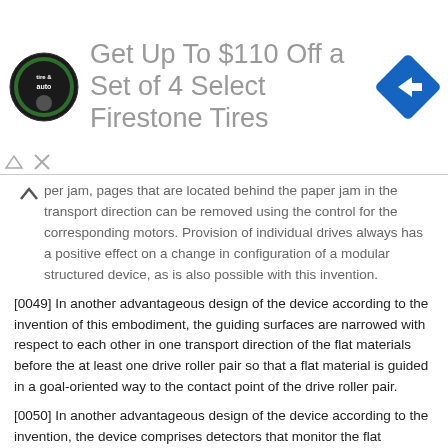[Figure (logo): Firestone Tire & Auto circular logo with green and dark colors]
Get Up To $110 Off a Set of 4 Select Firestone Tires
[Figure (logo): Blue diamond-shaped navigation/direction icon with right arrow]
per jam, pages that are located behind the paper jam in the transport direction can be removed using the control for the corresponding motors. Provision of individual drives always has a positive effect on a change in configuration of a modular structured device, as is also possible with this invention.
[0049] In another advantageous design of the device according to the invention of this embodiment, the guiding surfaces are narrowed with respect to each other in one transport direction of the flat materials before the at least one drive roller pair so that a flat material is guided in a goal-oriented way to the contact point of the drive roller pair.
[0050] In another advantageous design of the device according to the invention, the device comprises detectors that monitor the flat materials. Advantageously, the distances of the guiding surfaces with respect to each other are narrowed in the area of the detectors. The detectors are, in particular, on one hand front edge detectors that give information on the position of the flat materials on their way through the device according to the invention, and on the other, double page sensors that record the